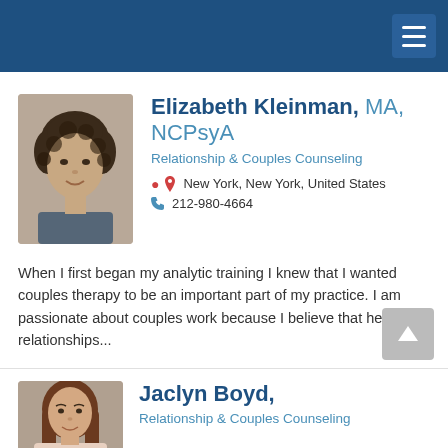Navigation menu
[Figure (photo): Headshot photo of Elizabeth Kleinman, a woman with curly dark hair]
Elizabeth Kleinman, MA, NCPsyA
Relationship & Couples Counseling
New York, New York, United States
212-980-4664
When I first began my analytic training I knew that I wanted couples therapy to be an important part of my practice. I am passionate about couples work because I believe that healthy relationships...
[Figure (photo): Partial headshot photo of Jaclyn Boyd, a woman with long brown hair]
Jaclyn Boyd,
Relationship & Couples Counseling